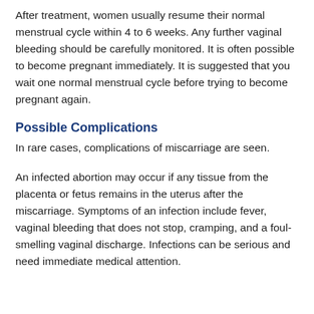After treatment, women usually resume their normal menstrual cycle within 4 to 6 weeks. Any further vaginal bleeding should be carefully monitored. It is often possible to become pregnant immediately. It is suggested that you wait one normal menstrual cycle before trying to become pregnant again.
Possible Complications
In rare cases, complications of miscarriage are seen.
An infected abortion may occur if any tissue from the placenta or fetus remains in the uterus after the miscarriage. Symptoms of an infection include fever, vaginal bleeding that does not stop, cramping, and a foul-smelling vaginal discharge. Infections can be serious and need immediate medical attention.